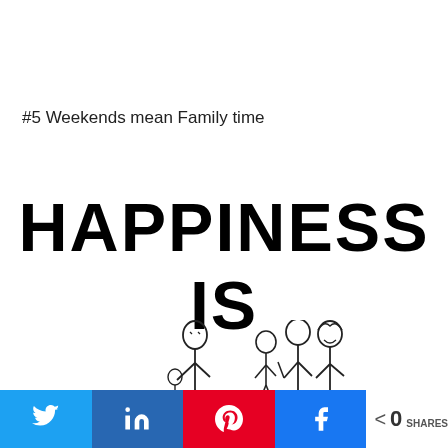#5 Weekends mean Family time
HAPPINESS IS
[Figure (illustration): Two hand-drawn stick figure illustrations: one single figure on the left, and a group of three figures (family) on the right, both in a simple sketchy style.]
0 SHARES (Twitter share, LinkedIn share, Pinterest share, Facebook share buttons)